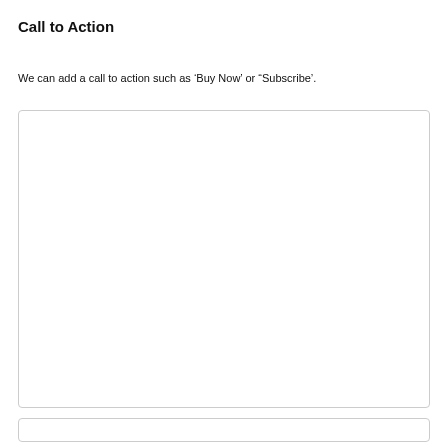Call to Action
We can add a call to action such as ‘Buy Now’ or “Subscribe’.
[Figure (other): Large empty placeholder box with light gray border and rounded corners]
[Figure (other): Small empty placeholder box with light gray border and rounded corners]